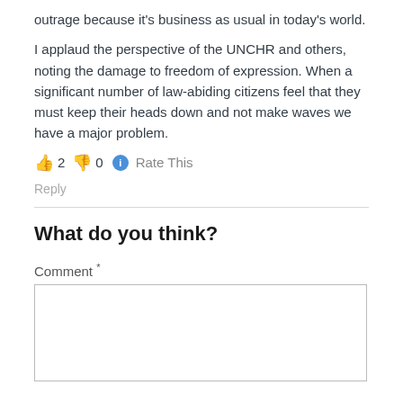outrage because it’s business as usual in today’s world.
I applaud the perspective of the UNCHR and others, noting the damage to freedom of expression. When a significant number of law-abiding citizens feel that they must keep their heads down and not make waves we have a major problem.
👍 2 👎 0 ℹ Rate This
Reply
What do you think?
Comment *